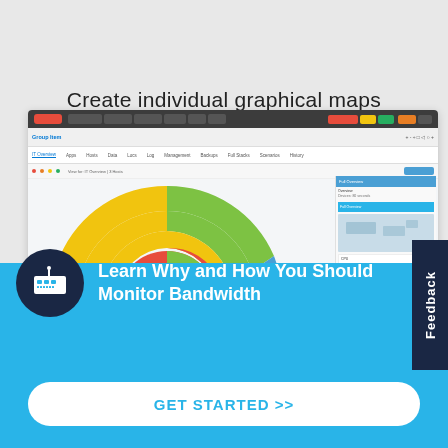Create individual graphical maps
[Figure (screenshot): Software dashboard screenshot showing a donut/sunburst chart with red, yellow, green, and blue segments, along with navigation bar, toolbar, and right panel with map and mini charts]
[Figure (infographic): Feedback tab on the right side, vertical text reading 'Feedback' on dark navy background]
Learn Why and How You Should Monitor Bandwidth
GET STARTED >>